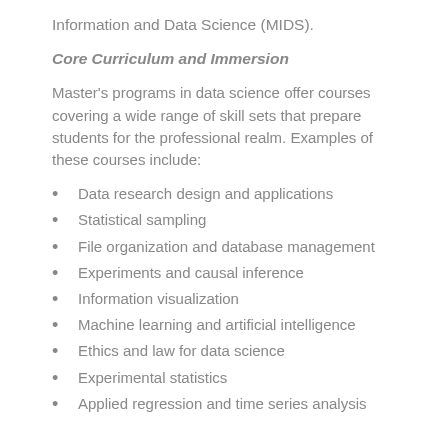Information and Data Science (MIDS).
Core Curriculum and Immersion
Master's programs in data science offer courses covering a wide range of skill sets that prepare students for the professional realm. Examples of these courses include:
Data research design and applications
Statistical sampling
File organization and database management
Experiments and causal inference
Information visualization
Machine learning and artificial intelligence
Ethics and law for data science
Experimental statistics
Applied regression and time series analysis